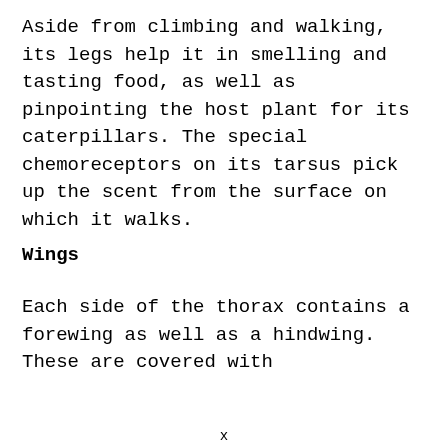Aside from climbing and walking, its legs help it in smelling and tasting food, as well as pinpointing the host plant for its caterpillars. The special chemoreceptors on its tarsus pick up the scent from the surface on which it walks.
Wings
Each side of the thorax contains a forewing as well as a hindwing. These are covered with
x